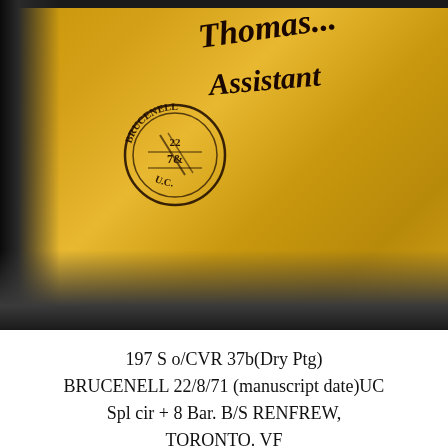[Figure (photo): Close-up photograph of an old yellow envelope with a circular Brucenell postmark dated 22/8/71 U.C. and handwritten cursive text reading 'Thomas...' and 'Assistant'. The envelope is photographed against a black background.]
197 S o/CVR 37b(Dry Ptg) BRUCENELL 22/8/71 (manuscript date)UC Spl cir + 8 Bar. B/S RENFREW, TORONTO. VF
SB  50.00